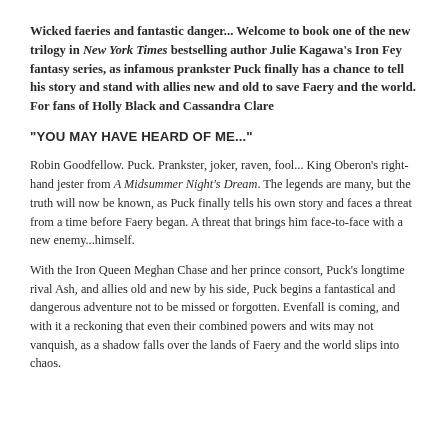Wicked faeries and fantastic danger... Welcome to book one of the new trilogy in New York Times bestselling author Julie Kagawa's Iron Fey fantasy series, as infamous prankster Puck finally has a chance to tell his story and stand with allies new and old to save Faery and the world. For fans of Holly Black and Cassandra Clare
"YOU MAY HAVE HEARD OF ME..."
Robin Goodfellow. Puck. Prankster, joker, raven, fool... King Oberon's right-hand jester from A Midsummer Night's Dream. The legends are many, but the truth will now be known, as Puck finally tells his own story and faces a threat from a time before Faery began. A threat that brings him face-to-face with a new enemy...himself.
With the Iron Queen Meghan Chase and her prince consort, Puck's longtime rival Ash, and allies old and new by his side, Puck begins a fantastical and dangerous adventure not to be missed or forgotten. Evenfall is coming, and with it a reckoning that even their combined powers and wits may not vanquish, as a shadow falls over the lands of Faery and the world slips into chaos.